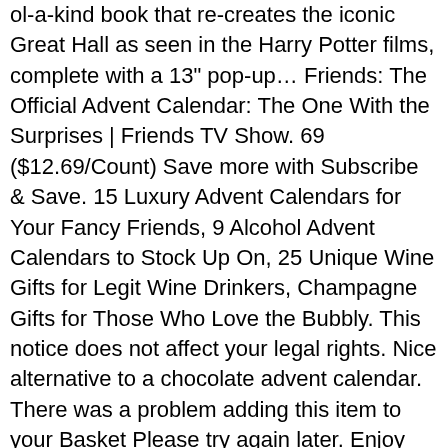ol-a-kind book that re-creates the iconic Great Hall as seen in the Harry Potter films, complete with a 13" pop-up… Friends: The Official Advent Calendar: The One With the Surprises | Friends TV Show. 69 ($12.69/Count) Save more with Subscribe & Save. 15 Luxury Advent Calendars for Your Fancy Friends, 9 Alcohol Advent Calendars to Stock Up On, 25 Unique Wine Gifts for Legit Wine Drinkers, Champagne Gifts for Those Who Love the Bubbly. This notice does not affect your legal rights. Nice alternative to a chocolate advent calendar. There was a problem adding this item to your Basket Please try again later. Enjoy the magic of Christmas with the Lipton Christmas Tea Advent Calendar. Beginning of a dialog window, including tabbed navigation to register an account or sign in to an existing account. Get … This is because tea tastes better together. Craft. Your friends will … Occasion: Christmas Type: Advent Calendar. Published. Madelaine Chocolates Santa's Workshop Christmas Countdown Advent Calendar, Filled With (6 oz - 170 g) Solid Premium Milk Chocolate (1 Pack) 4.5 out of 5 stars 679. Countdown to Christmas with a luxury tea advent calendar for 2020 – you can start each day in December with a lovely cuppa and there are so many different types to choose from. The holiday season is all about getting cozy, and what better accessory for a crackling fire or blanket than a warm cup of tea? For medicinal